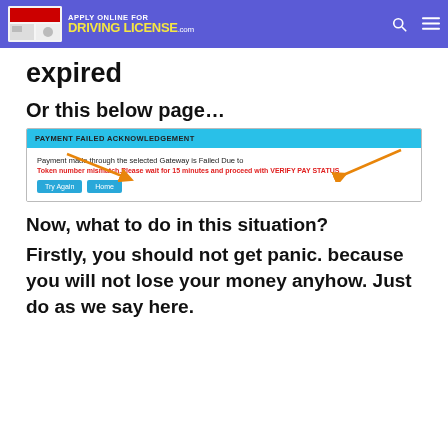APPLY ONLINE FOR DRIVING LICENSE .com
expired
Or this below page…
[Figure (screenshot): Screenshot of a Payment Failed Acknowledgement page. Header: PAYMENT FAILED ACKNOWLEDGEMENT. Body text: Payment made through the selected Gateway is Failed Due to Token number mismatch.Please wait for 15 minutes and proceed with VERIFY PAY STATUS. Two buttons: Try Again and Home. Orange arrows pointing to the red text and the header.]
Now, what to do in this situation?
Firstly, you should not get panic. because you will not lose your money anyhow. Just do as we say here.